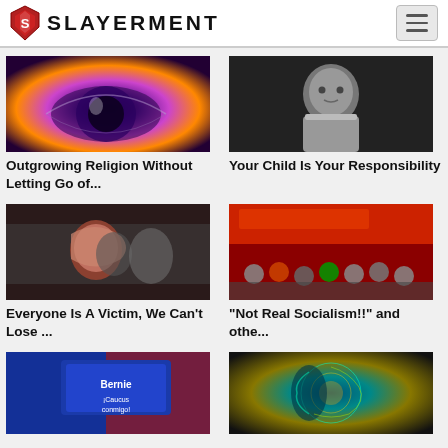Slayerment
[Figure (photo): Close-up macro photo of an eye with colorful reflections, purple and orange tones]
Outgrowing Religion Without Letting Go of...
[Figure (photo): Black and white photo of a young child looking upward with a serious expression]
Your Child Is Your Responsibility
[Figure (photo): Photo of a red-haired woman looking downward in distress at what appears to be a press conference]
Everyone Is A Victim, We Can't Lose ...
[Figure (photo): Group photo of people in front of a red banner reading FOR AN SOCIALIST, raising fists]
"Not Real Socialism!!" and othe...
[Figure (photo): Photo of Bernie Sanders campaign signs including Caucus Conmigo sign, red white and blue colors]
[Figure (photo): Digital art illustration of a human head profile with glowing circuit and gear elements in teal and gold]